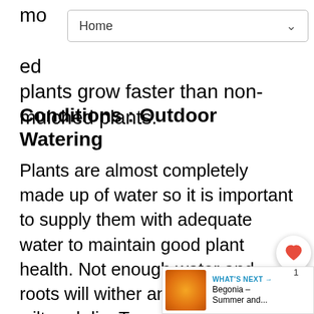mo...ed plants grow faster than non-mulched plants.
[Figure (screenshot): Browser navigation bar showing 'Home' with a dropdown arrow]
Conditions : Outdoor Watering
Plants are almost completely made up of water so it is important to supply them with adequate water to maintain good plant health. Not enough water and roots will wither and the plant will wilt and die. Too much water applied too frequently deprives roots of oxygen leading to plant diseases such as root and stem rots. The type of plant, plant age, light level, soil type and container size all will impact how a plant needs to be watered. Follow these tips to ensure successful watering: